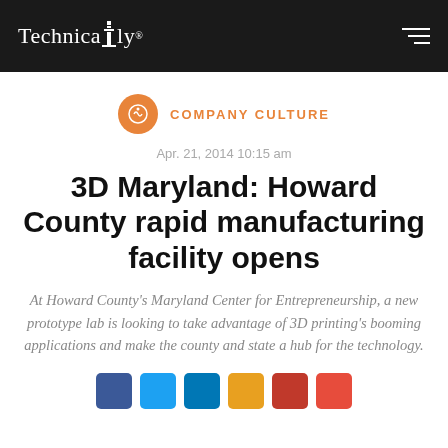Technically
COMPANY CULTURE
Apr. 21, 2014 10:15 am
3D Maryland: Howard County rapid manufacturing facility opens
At Howard County's Maryland Center for Entrepreneurship, a new prototype lab is looking to take advantage of 3D printing's booming applications and make the county and state a hub for the technology.